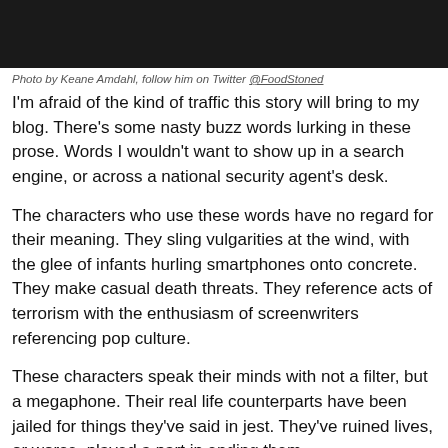[Figure (photo): Dark photograph of a person, cropped to show upper body area, dark background]
Photo by Keane Amdahl, follow him on Twitter @FoodStoned
I'm afraid of the kind of traffic this story will bring to my blog. There's some nasty buzz words lurking in these prose. Words I wouldn't want to show up in a search engine, or across a national security agent's desk.
The characters who use these words have no regard for their meaning. They sling vulgarities at the wind, with the glee of infants hurling smartphones onto concrete. They make casual death threats. They reference acts of terrorism with the enthusiasm of screenwriters referencing pop culture.
These characters speak their minds with not a filter, but a megaphone. Their real life counterparts have been jailed for things they've said in jest. They've ruined lives, or worse, played a part in ending them.